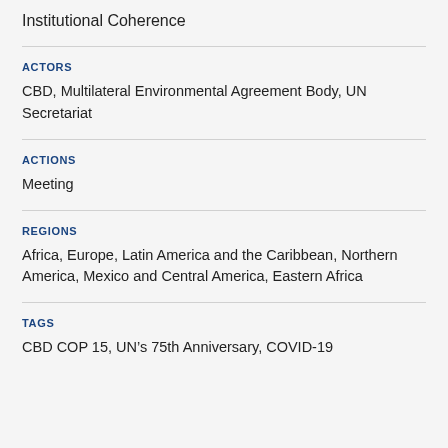Institutional Coherence
ACTORS
CBD, Multilateral Environmental Agreement Body, UN Secretariat
ACTIONS
Meeting
REGIONS
Africa, Europe, Latin America and the Caribbean, Northern America, Mexico and Central America, Eastern Africa
TAGS
CBD COP 15, UN’s 75th Anniversary, COVID-19